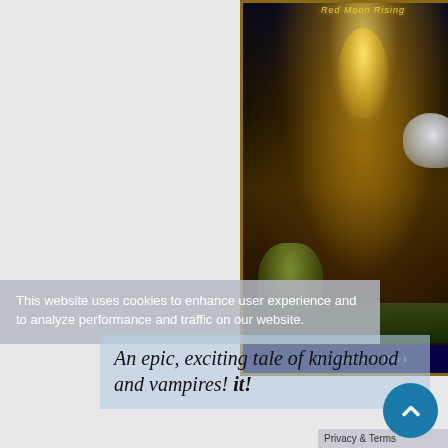[Figure (photo): Book cover for a fantasy novel showing a glowing ethereal entity at top, a white wolf on the right, and a kneeling figure in the foreground, with text 'Red Moon Rising' at top and 'Richard A Vallack' at bottom in blue bar]
This website uses cookies to enhance user experience and to analyze performance and traffic on our website.
An epic, exciting tale of knighthood and vampires!